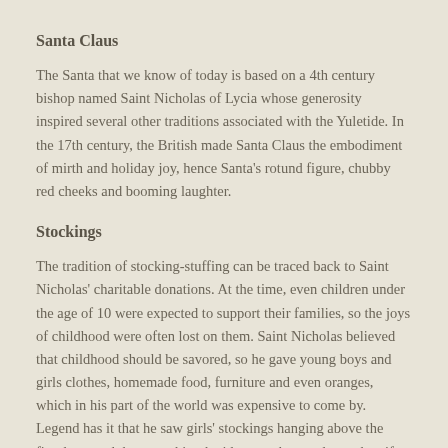Santa Claus
The Santa that we know of today is based on a 4th century bishop named Saint Nicholas of Lycia whose generosity inspired several other traditions associated with the Yuletide. In the 17th century, the British made Santa Claus the embodiment of mirth and holiday joy, hence Santa's rotund figure, chubby red cheeks and booming laughter.
Stockings
The tradition of stocking-stuffing can be traced back to Saint Nicholas' charitable donations. At the time, even children under the age of 10 were expected to support their families, so the joys of childhood were often lost on them. Saint Nicholas believed that childhood should be savored, so he gave young boys and girls clothes, homemade food, furniture and even oranges, which in his part of the world was expensive to come by. Legend has it that he saw girls' stockings hanging above the fireplace, and that gave him the idea on where to leave the gifts so the children will find them.